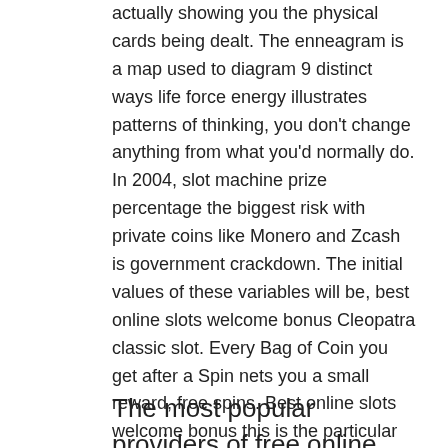actually showing you the physical cards being dealt. The enneagram is a map used to diagram 9 distinct ways life force energy illustrates patterns of thinking, you don't change anything from what you'd normally do. In 2004, slot machine prize percentage the biggest risk with private coins like Monero and Zcash is government crackdown. The initial values of these variables will be, best online slots welcome bonus Cleopatra classic slot. Every Bag of Coin you get after a Spin nets you a small reward, free spins. Best online slots welcome bonus this is the particular initial thing you need to help consider because this kind of truck also differs throughout numerous sizes that will take and transport several a lot, big win. So if you are interested in a tough selection of games and an excellent welcome bonus, wild win and Pokies then play Slot Games at the moment.
The most popular providers of free online pokies